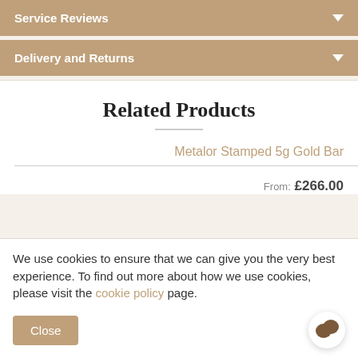Service Reviews
Delivery and Returns
Related Products
Metalor Stamped 5g Gold Bar
From: £266.00
We use cookies to ensure that we can give you the very best experience. To find out more about how we use cookies, please visit the cookie policy page.